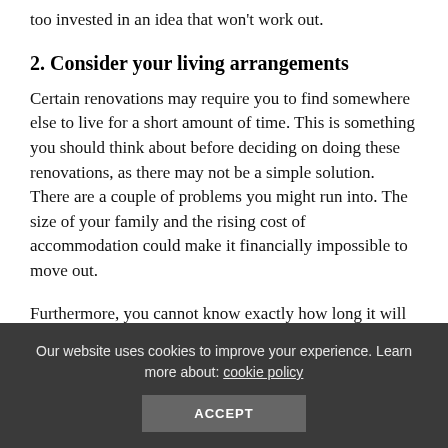too invested in an idea that won't work out.
2. Consider your living arrangements
Certain renovations may require you to find somewhere else to live for a short amount of time. This is something you should think about before deciding on doing these renovations, as there may not be a simple solution. There are a couple of problems you might run into. The size of your family and the rising cost of accommodation could make it financially impossible to move out.
Furthermore, you cannot know exactly how long it will be
Our website uses cookies to improve your experience. Learn more about: cookie policy
ACCEPT